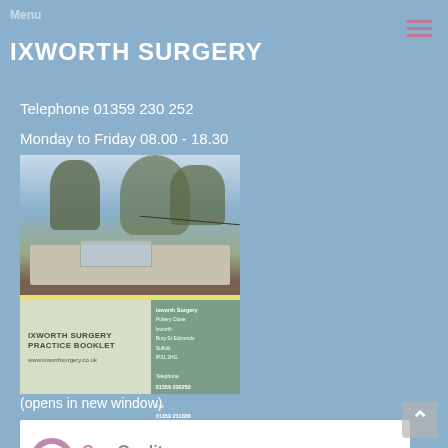Menu
IXWORTH SURGERY
Telephone 01359 230 252
Monday to Friday 08.00 - 18.30
[Figure (photo): Composite image showing a photo of Ixworth Surgery building exterior with trees, and below it the cover of the Ixworth Surgery Practice Booklet showing the building photo, practice name, website URL, and contact/address details on a green panel.]
(opens in new window)
[Figure (logo): Care Quality Commission logo showing a pink/mauve circle with inner circle and the text 'CareQuality Commission' in pink and grey.]